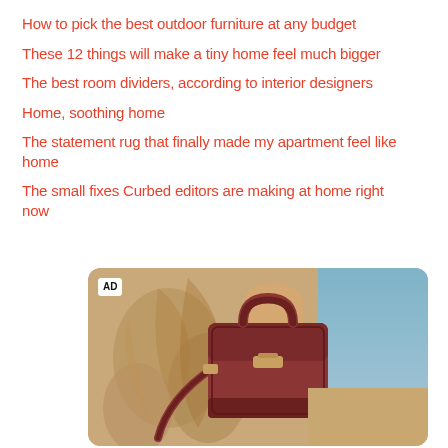How to pick the best outdoor furniture at any budget
These 12 things will make a tiny home feel much bigger
The best room dividers, according to interior designers
Home, soothing home
The statement rug that finally made my apartment feel like home
The small fixes Curbed editors are making at home right now
[Figure (photo): Advertisement photo showing a person holding a small dark red/burgundy leather handbag against a light sandy/beige background with blue sky visible. AD badge in top-left corner.]